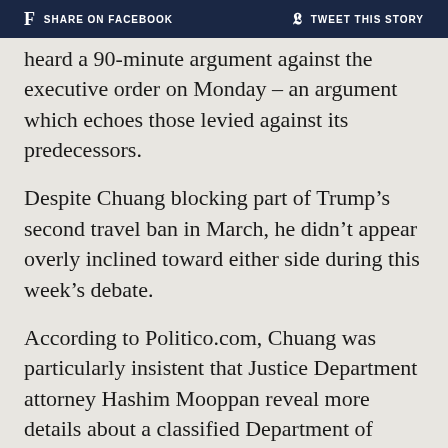f SHARE ON FACEBOOK   TWEET THIS STORY
heard a 90-minute argument against the executive order on Monday – an argument which echoes those levied against its predecessors.
Despite Chuang blocking part of Trump's second travel ban in March, he didn't appear overly inclined toward either side during this week's debate.
According to Politico.com, Chuang was particularly insistent that Justice Department attorney Hashim Mooppan reveal more details about a classified Department of Homeland Security memo which was purportedly used by the Trump administration to lay down the groundwork for its third travel ban.
“Are you representing to me now as an officer of the court that there’s nothing in there that inconsistent with this proclamation?” asked Chuang.
Mooppan, the second-ranking attorney in the Justice